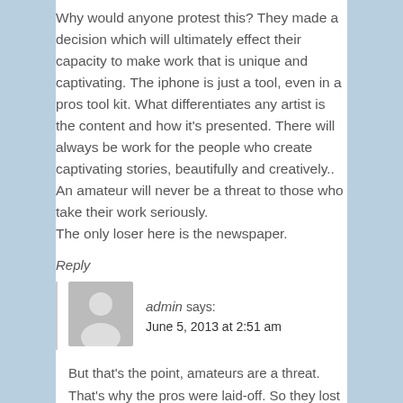Why would anyone protest this? They made a decision which will ultimately effect their capacity to make work that is unique and captivating. The iphone is just a tool, even in a pros tool kit. What differentiates any artist is the content and how it's presented. There will always be work for the people who create captivating stories, beautifully and creatively.. An amateur will never be a threat to those who take their work seriously.
The only loser here is the newspaper.
Reply
admin says:
June 5, 2013 at 2:51 am
But that's the point, amateurs are a threat. That's why the pros were laid-off. So they lost their livelihood. The real losers are the